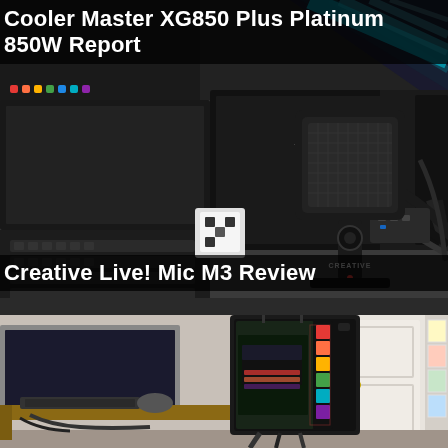[Figure (photo): Photo of a desk setup with ViewSonic monitors, mechanical keyboard, and a Creative Live! Mic M3 USB microphone in the foreground. The microphone is a black square-shaped condenser mic on a stand with Creative branding visible on the front.]
Cooler Master XG850 Plus Platinum 850W Report
Creative Live! Mic M3 Review
[Figure (photo): Photo of a desktop PC tower case with RGB lighting along the front panel, showing colorful rainbow LED strips. The case is black and sits on a desk. A door and some wall-mounted items are visible in the background on the right side.]